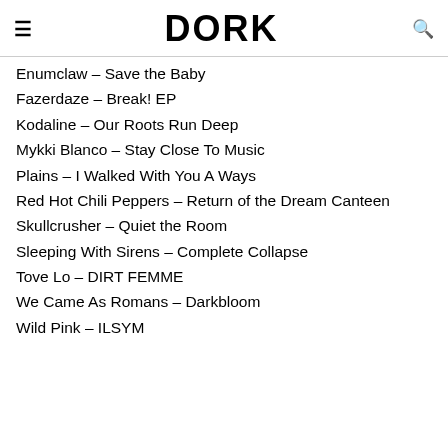DORK
Enumclaw – Save the Baby
Fazerdaze – Break! EP
Kodaline – Our Roots Run Deep
Mykki Blanco – Stay Close To Music
Plains – I Walked With You A Ways
Red Hot Chili Peppers – Return of the Dream Canteen
Skullcrusher – Quiet the Room
Sleeping With Sirens – Complete Collapse
Tove Lo – DIRT FEMME
We Came As Romans – Darkbloom
Wild Pink – ILSYM